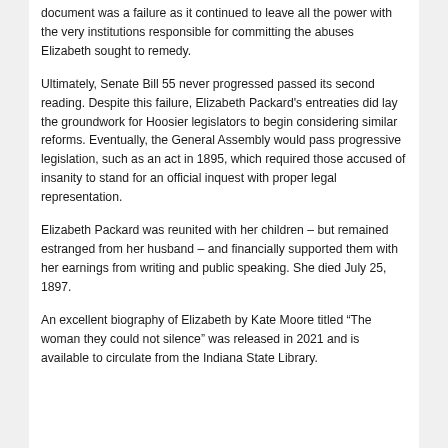document was a failure as it continued to leave all the power with the very institutions responsible for committing the abuses Elizabeth sought to remedy.
Ultimately, Senate Bill 55 never progressed passed its second reading. Despite this failure, Elizabeth Packard's entreaties did lay the groundwork for Hoosier legislators to begin considering similar reforms. Eventually, the General Assembly would pass progressive legislation, such as an act in 1895, which required those accused of insanity to stand for an official inquest with proper legal representation.
Elizabeth Packard was reunited with her children – but remained estranged from her husband – and financially supported them with her earnings from writing and public speaking. She died July 25, 1897.
An excellent biography of Elizabeth by Kate Moore titled “The woman they could not silence” was released in 2021 and is available to circulate from the Indiana State Library.